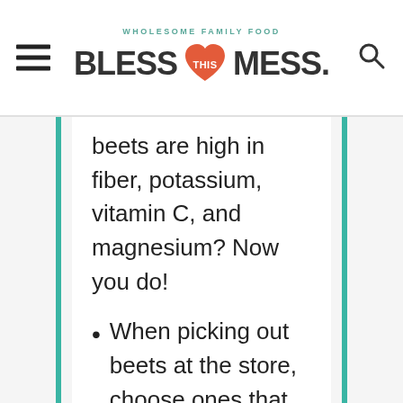WHOLESOME FAMILY FOOD — BLESS THIS MESS.
beets are high in fiber, potassium, vitamin C, and magnesium? Now you do!
When picking out beets at the store, choose ones that are firm to the touch and have nice perky greens on top instead